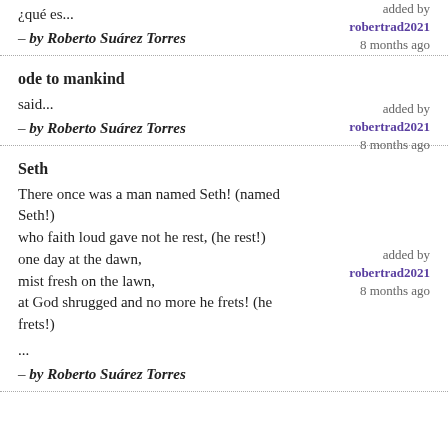¿qué es...
– by Roberto Suárez Torres
added by robertrad2021 8 months ago
ode to mankind
said...
– by Roberto Suárez Torres
added by robertrad2021 8 months ago
Seth
There once was a man named Seth! (named Seth!)
who faith loud gave not he rest, (he rest!)
one day at the dawn,
mist fresh on the lawn,
at God shrugged and no more he frets! (he frets!)

...
– by Roberto Suárez Torres
added by robertrad2021 8 months ago